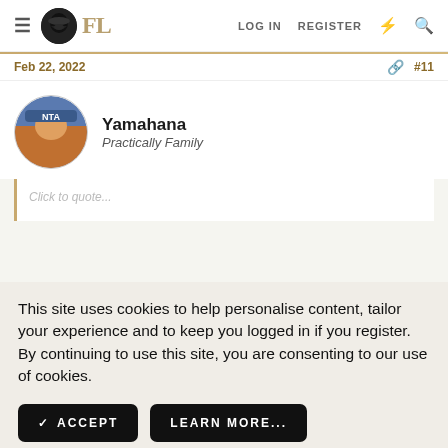FL — LOG IN   REGISTER
Feb 22, 2022   #11
Yamahana
Practically Family
This site uses cookies to help personalise content, tailor your experience and to keep you logged in if you register. By continuing to use this site, you are consenting to our use of cookies.
ACCEPT   LEARN MORE...
I agree. His pics are.....lacking. Lol. It ends up it's missing one of the Scovill pocket pulls and I specifically asked it they were intact before
Click to expand...
I've bought from him before and he'll usually come down